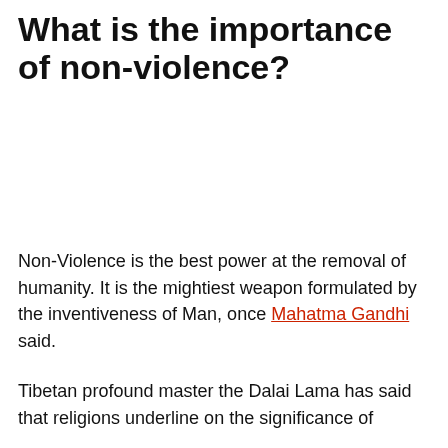What is the importance of non-violence?
Non-Violence is the best power at the removal of humanity. It is the mightiest weapon formulated by the inventiveness of Man, once Mahatma Gandhi said.
Tibetan profound master the Dalai Lama has said that religions underline on the significance of